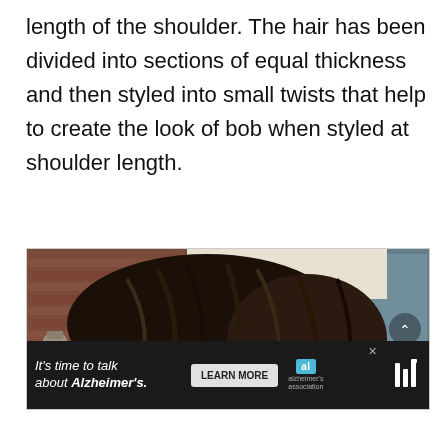length of the shoulder. The hair has been divided into sections of equal thickness and then styled into small twists that help to create the look of bob when styled at shoulder length.
[Figure (photo): Photo of a person with shoulder-length locs/twists hairstyle, standing in front of a brick building with large glass windows. A sign partially visible reads 'WA...' in cursive. An Alzheimer's Association advertisement banner overlays the bottom of the image.]